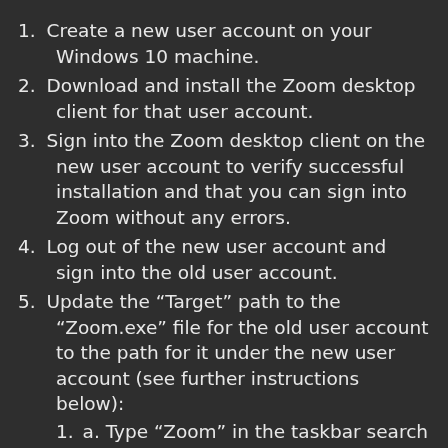Create a new user account on your Windows 10 machine.
Download and install the Zoom desktop client for that user account.
Sign into the Zoom desktop client on the new user account to verify successful installation and that you can sign into Zoom without any errors.
Log out of the new user account and sign into the old user account.
Update the “Target” path to the “Zoom.exe” file for the old user account to the path for it under the new user account (see further instructions below):
a. Type “Zoom” in the taskbar search box, right-click on the Zoom